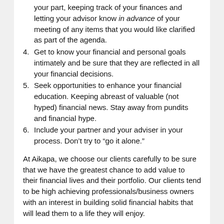your part, keeping track of your finances and letting your advisor know in advance of your meeting of any items that you would like clarified as part of the agenda.
Get to know your financial and personal goals intimately and be sure that they are reflected in all your financial decisions.
Seek opportunities to enhance your financial education. Keeping abreast of valuable (not hyped) financial news. Stay away from pundits and financial hype.
Include your partner and your adviser in your process. Don’t try to “go it alone.”
At Aikapa, we choose our clients carefully to be sure that we have the greatest chance to add value to their financial lives and their portfolio. Our clients tend to be high achieving professionals/business owners with an interest in building solid financial habits that will lead them to a life they will enjoy.
Sleeping well is essential to good solid decisions and